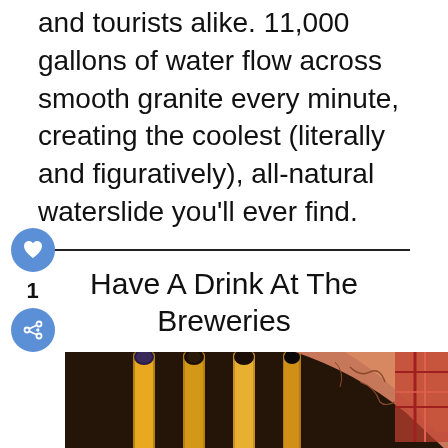and tourists alike. 11,000 gallons of water flow across smooth granite every minute, creating the coolest (literally and figuratively), all-natural waterslide you'll ever find.
Have A Drink At The Breweries
[Figure (photo): A tattooed bartender's arm pulling a beer tap handle at a bar with multiple golden tap handles. A glass of beer is visible at the bottom.]